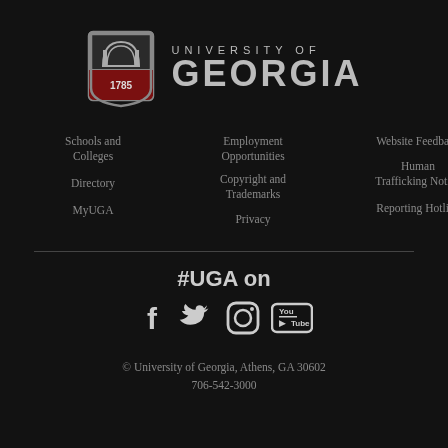[Figure (logo): University of Georgia shield logo with arch and 1785 seal, followed by 'UNIVERSITY OF GEORGIA' wordmark in gray]
Schools and Colleges
Employment Opportunities
Website Feedback
Directory
Copyright and Trademarks
Human Trafficking Notice
MyUGA
Privacy
Reporting Hotline
#UGA on
[Figure (illustration): Social media icons: Facebook, Twitter, Instagram, YouTube]
© University of Georgia, Athens, GA 30602
706-542-3000